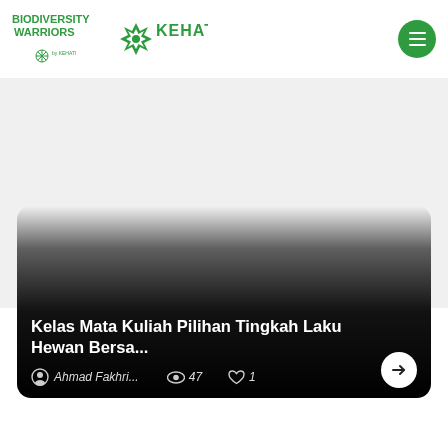[Figure (logo): Biodiversity Warriors by KEHATI logo and KEHATI snowflake logo in green]
[Figure (screenshot): Mobile app card showing a course article with dark gradient overlay at bottom. Title: Kelas Mata Kuliah Pilihan Tingkah Laku Hewan Bersa... Author: Ahmad Fakhri... Views: 47, Likes: 1, with arrow button]
Kelas Mata Kuliah Pilihan Tingkah Laku Hewan Bersa...
Ahmad Fakhri...   47   1